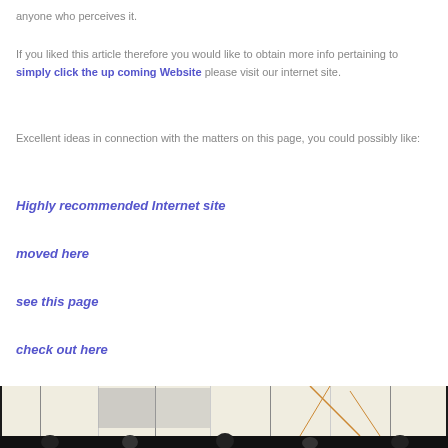anyone who perceives it.
If you liked this article therefore you would like to obtain more info pertaining to simply click the up coming Website please visit our internet site.
Excellent ideas in connection with the matters on this page, you could possibly like:
Highly recommended Internet site
moved here
see this page
check out here
[Figure (photo): Bottom strip of a photo showing figures/people and geometric shapes in a light beige/cream scene with dark lines]